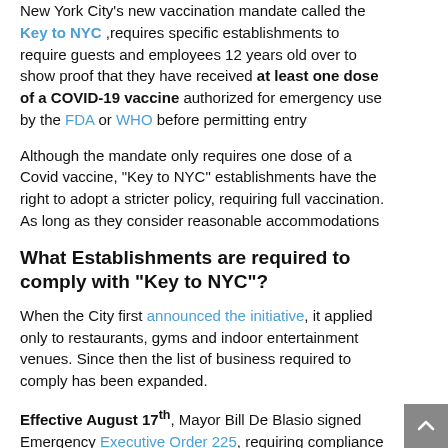New York City's new vaccination mandate called the "Key to NYC", requires specific establishments to require guests and employees 12 years old over to show proof that they have received at least one dose of a COVID-19 vaccine authorized for emergency use by the FDA or WHO before permitting entry
Although the mandate only requires one dose of a Covid vaccine, "Key to NYC" establishments have the right to adopt a stricter policy, requiring full vaccination. As long as they consider reasonable accommodations
What Establishments are required to comply with "Key to NYC"?
When the City first announced the initiative, it applied only to restaurants, gyms and indoor entertainment venues. Since then the list of business required to comply has been expanded.
Effective August 17th, Mayor Bill De Blasio signed Emergency Executive Order 225, requiring compliance for all of the following "Key to NYC Establishments":
Indoor Fitness